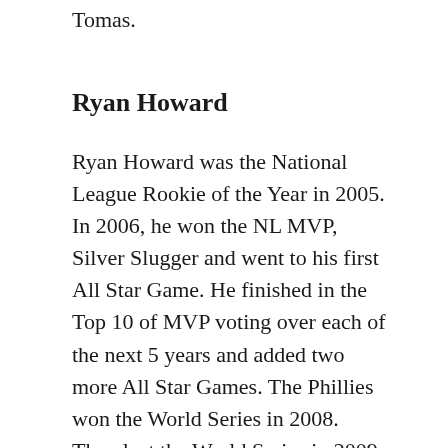Tomas.
Ryan Howard
Ryan Howard was the National League Rookie of the Year in 2005. In 2006, he won the NL MVP, Silver Slugger and went to his first All Star Game. He finished in the Top 10 of MVP voting over each of the next 5 years and added two more All Star Games. The Phillies won the World Series in 2008. They lost the World Series in 2009. Howard was the NLCS MVP in 2009.
In 2011, the last of those MVP voted seasons, the Phillies were the best team in the